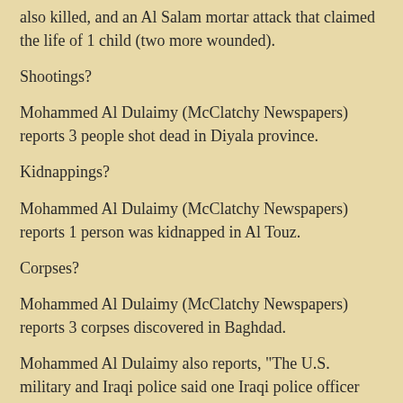also killed, and an Al Salam mortar attack that claimed the life of 1 child (two more wounded).
Shootings?
Mohammed Al Dulaimy (McClatchy Newspapers) reports 3 people shot dead in Diyala province.
Kidnappings?
Mohammed Al Dulaimy (McClatchy Newspapers) reports 1 person was kidnapped in Al Touz.
Corpses?
Mohammed Al Dulaimy (McClatchy Newspapers) reports 3 corpses discovered in Baghdad.
Mohammed Al Dulaimy also reports, "The U.S. military and Iraqi police said one Iraqi police officer was killed and one marine was injured in an altercation at a joint outpost in the Jazeera area of Ramadi on Wednesday. The police officer